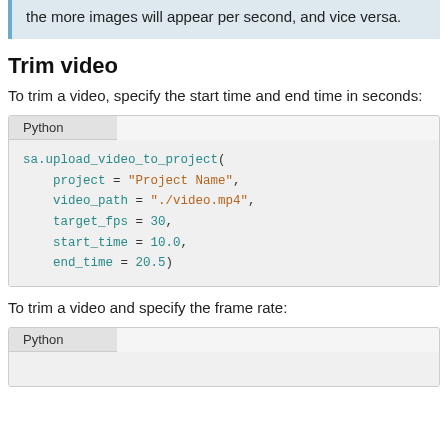the more images will appear per second, and vice versa.
Trim video
To trim a video, specify the start time and end time in seconds:
[Figure (screenshot): Python code block showing sa.upload_video_to_project( project = "Project Name", video_path = "./video.mp4", target_fps = 30, start_time = 10.0, end_time = 20.5)]
To trim a video and specify the frame rate:
[Figure (screenshot): Python code block tab shown at bottom of page]